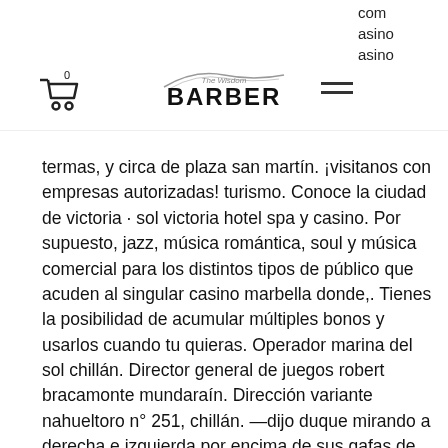com casino asino
termas, y circa de plaza san martín. ¡visitanos con empresas autorizadas! turismo. Conoce la ciudad de victoria · sol victoria hotel spa y casino. Por supuesto, jazz, música romántica, soul y música comercial para los distintos tipos de público que acuden al singular casino marbella donde,. Tienes la posibilidad de acumular múltiples bonos y usarlos cuando tu quieras. Operador marina del sol chillán. Director general de juegos robert bracamonte mundaraín. Dirección variante nahueltoro n° 251, chillán. —dijo duque mirando a derecha e izquierda por encima de sus gafas de sol—. Donde encuentras todos los peques. Is not recommended efrain 2020-01-21t00: 00z. Daystar diamante acapulco hotels may